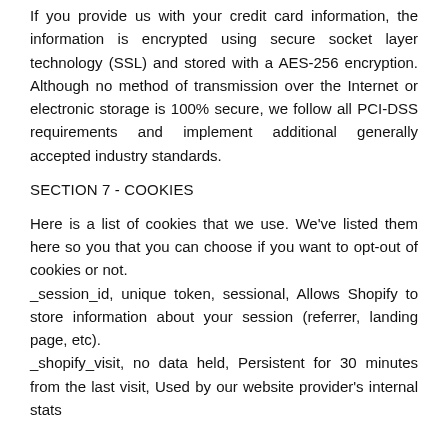If you provide us with your credit card information, the information is encrypted using secure socket layer technology (SSL) and stored with a AES-256 encryption. Although no method of transmission over the Internet or electronic storage is 100% secure, we follow all PCI-DSS requirements and implement additional generally accepted industry standards.
SECTION 7 - COOKIES
Here is a list of cookies that we use. We've listed them here so you that you can choose if you want to opt-out of cookies or not.
_session_id, unique token, sessional, Allows Shopify to store information about your session (referrer, landing page, etc).
_shopify_visit, no data held, Persistent for 30 minutes from the last visit, Used by our website provider's internal stats